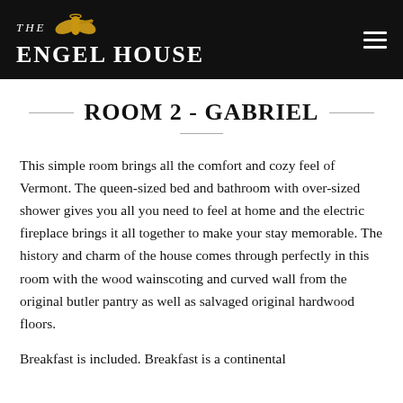The Engel House
ROOM 2 - GABRIEL
This simple room brings all the comfort and cozy feel of Vermont. The queen-sized bed and bathroom with over-sized shower gives you all you need to feel at home and the electric fireplace brings it all together to make your stay memorable. The history and charm of the house comes through perfectly in this room with the wood wainscoting and curved wall from the original butler pantry as well as salvaged original hardwood floors.
Breakfast is included. Breakfast is a continental